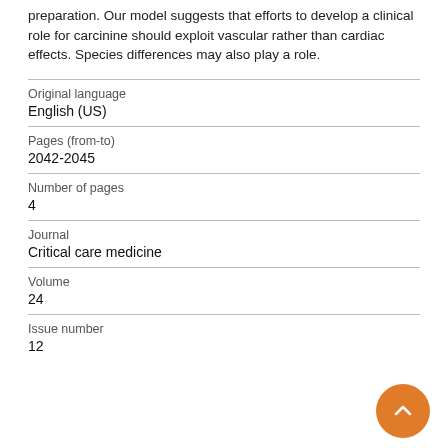preparation. Our model suggests that efforts to develop a clinical role for carcinine should exploit vascular rather than cardiac effects. Species differences may also play a role.
| Original language | English (US) |
| Pages (from-to) | 2042-2045 |
| Number of pages | 4 |
| Journal | Critical care medicine |
| Volume | 24 |
| Issue number | 12 |